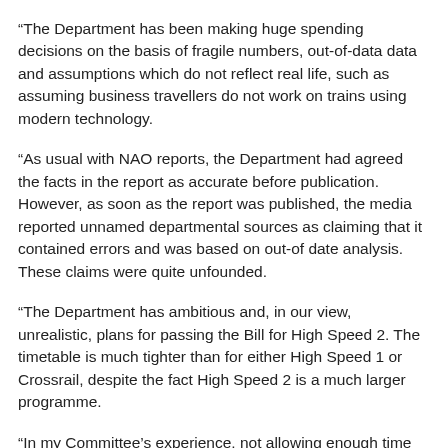“The Department has been making huge spending decisions on the basis of fragile numbers, out-of-data data and assumptions which do not reflect real life, such as assuming business travellers do not work on trains using modern technology.
“As usual with NAO reports, the Department had agreed the facts in the report as accurate before publication. However, as soon as the report was published, the media reported unnamed departmental sources as claiming that it contained errors and was based on out-of date analysis. These claims were quite unfounded.
“The Department has ambitious and, in our view, unrealistic, plans for passing the Bill for High Speed 2. The timetable is much tighter than for either High Speed 1 or Crossrail, despite the fact High Speed 2 is a much larger programme.
“In my Committee’s experience, not allowing enough time for preparation undermines projects from the start. A rushed approach contributed to the failure of the InterCity West Coast franchise award.